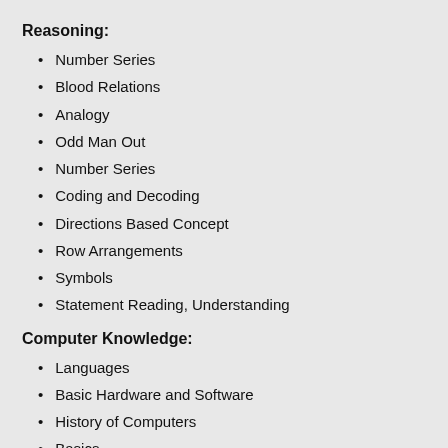Reasoning:
Number Series
Blood Relations
Analogy
Odd Man Out
Number Series
Coding and Decoding
Directions Based Concept
Row Arrangements
Symbols
Statement Reading, Understanding
Computer Knowledge:
Languages
Basic Hardware and Software
History of Computers
Basics